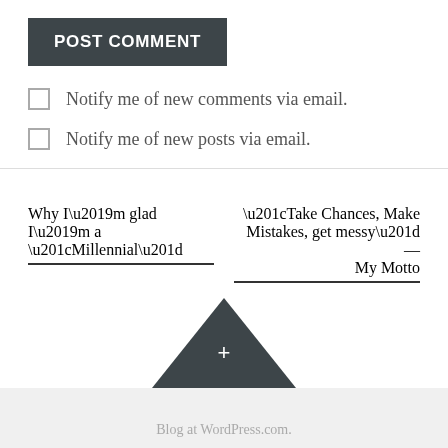POST COMMENT
Notify me of new comments via email.
Notify me of new posts via email.
Why I’m glad I’m a “Millennial”
“Take Chances, Make Mistakes, get messy” — My Motto
Blog at WordPress.com.